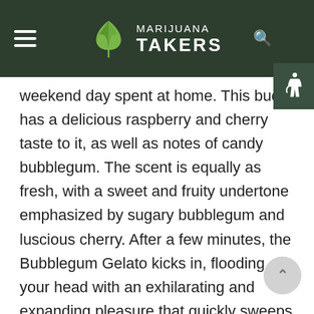MARIJUANA TAKERS
weekend day spent at home. This bud has a delicious raspberry and cherry taste to it, as well as notes of candy bubblegum. The scent is equally as fresh, with a sweet and fruity undertone emphasized by sugary bubblegum and luscious cherry. After a few minutes, the Bubblegum Gelato kicks in, flooding your head with an exhilarating and expanding pleasure that quickly sweeps away any unpleasant or racing thoughts. As your mind relaxes, a wave of inspiration will flood over you, allowing you to tackle any artistic endeavor at hand. Bubblegum Gelato is frequently used to manage ailments such as chronic pain, appetite loss or nausea, chronic stress, insomnia, and chronic exhaustion because of its